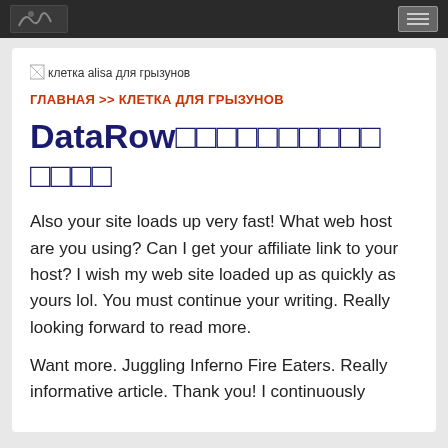[logo] [menu button]
[Figure (illustration): Broken image placeholder with alt text: клетка alisa для грызунов]
ГЛАВНАЯ >> КЛЕТКА ДЛЯ ГРЫЗУНОВ
DataRow кле тка для гры зунов
Also your site loads up very fast! What web host are you using? Can I get your affiliate link to your host? I wish my web site loaded up as quickly as yours lol. You must continue your writing. Really looking forward to read more.
Want more. Juggling Inferno Fire Eaters. Really informative article. Thank you! I continuously